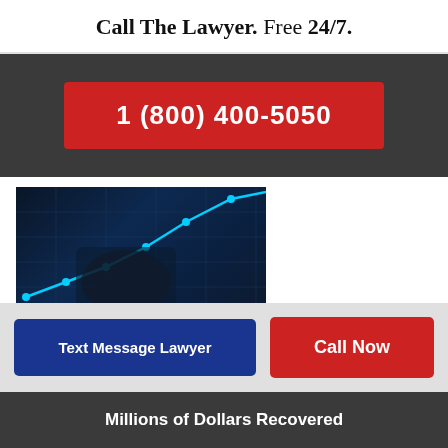Call The Lawyer. Free 24/7.
1 (800) 400-5050
[Figure (photo): Photo of a lawyer with a glowing rising chart line in dark blue background, with yellow name bar 'Lawyer Jimmy Hanaie' and blue bar 'CaliforniaLaw.com']
We want to know the facts of your specific legal
Text Message Lawyer
Call Now
Millions of Dollars Recovered